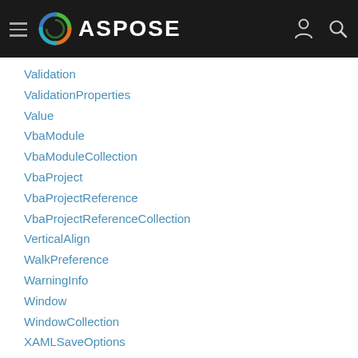ASPOSE
Validation
ValidationProperties
Value
VbaModule
VbaModuleCollection
VbaProject
VbaProjectReference
VbaProjectReferenceCollection
VerticalAlign
WalkPreference
WarningInfo
Window
WindowCollection
XAMLSaveOptions
XForm
XForm1D
XJustify
XPSSaveOptions
YJustify